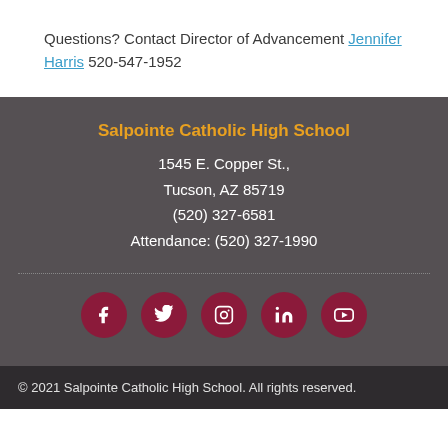Questions? Contact Director of Advancement Jennifer Harris 520-547-1952
Salpointe Catholic High School
1545 E. Copper St.,
Tucson, AZ 85719
(520) 327-6581
Attendance: (520) 327-1990
[Figure (infographic): Row of five dark red circular social media icons: Facebook, Twitter, Instagram, LinkedIn, YouTube]
© 2021 Salpointe Catholic High School. All rights reserved.